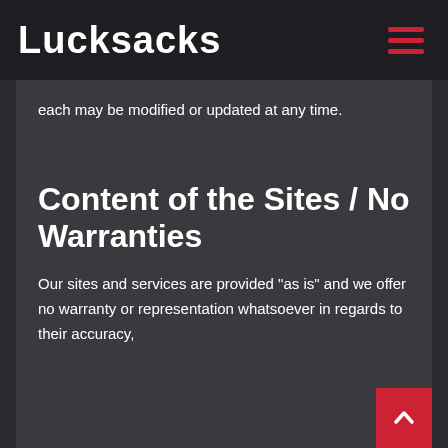Lucksacks
each may be modified or updated at any time.
Content of the Sites / No Warranties
Our sites and services are provided "as is" and we offer no warranty or representation whatsoever in regards to their accuracy,